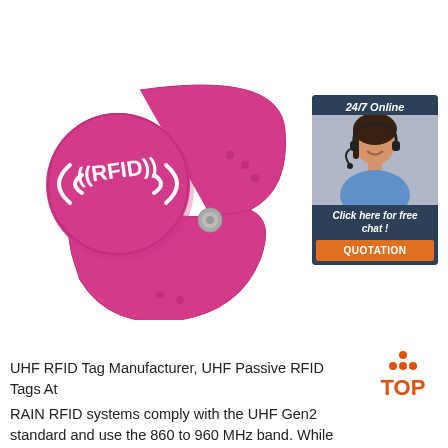[Figure (photo): Pink RFID silicone wristband with circular disc showing '((RFID))' logo in white, with adjustable strap and metal snap button]
[Figure (infographic): 24/7 Online chat widget with dark teal background, woman with headset photo, 'Click here for free chat!' text, and orange QUOTATION button]
[Figure (logo): TOP logo with orange dot pattern triangle above the word TOP in orange]
UHF RFID Tag Manufacturer, UHF Passive RFID Tags At RAIN RFID systems comply with the UHF Gen2 standard and use the 860 to 960 MHz band. While there is some variance in frequency